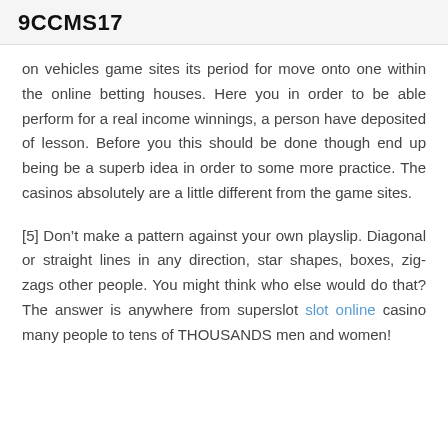9CCMS17
on vehicles game sites its period for move onto one within the online betting houses. Here you in order to be able perform for a real income winnings, a person have deposited of lesson. Before you this should be done though end up being be a superb idea in order to some more practice. The casinos absolutely are a little different from the game sites.
[5] Don’t make a pattern against your own playslip. Diagonal or straight lines in any direction, star shapes, boxes, zig-zags other people. You might think who else would do that? The answer is anywhere from superslot slot online casino many people to tens of THOUSANDS men and women!